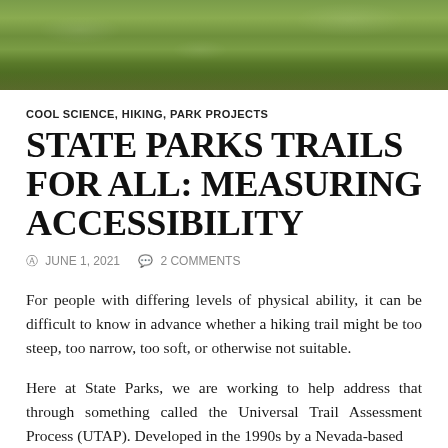[Figure (photo): Outdoor grass/lawn photograph used as a banner header image at the top of the page]
COOL SCIENCE, HIKING, PARK PROJECTS
STATE PARKS TRAILS FOR ALL: MEASURING ACCESSIBILITY
⊙ JUNE 1, 2021   ✉ 2 COMMENTS
For people with differing levels of physical ability, it can be difficult to know in advance whether a hiking trail might be too steep, too narrow, too soft, or otherwise not suitable.
Here at State Parks, we are working to help address that through something called the Universal Trail Assessment Process (UTAP). Developed in the 1990s by a Nevada-based